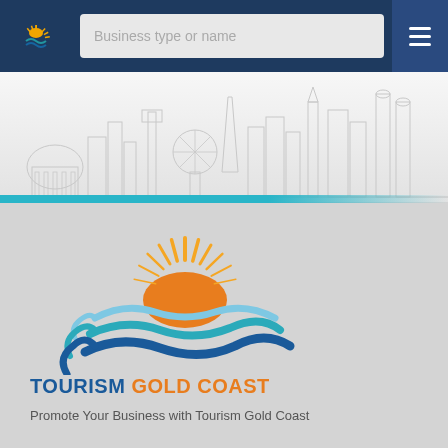[Figure (screenshot): Tourism Gold Coast website screenshot showing a navigation bar with logo, search field for 'Business type or name', hamburger menu, a city skyline illustration banner, and the Tourism Gold Coast logo with tagline 'Promote Your Business with Tourism Gold Coast']
Business type or name
[Figure (logo): Tourism Gold Coast logo with sun rays and wave motifs]
TOURISM GOLD COAST
Promote Your Business with Tourism Gold Coast